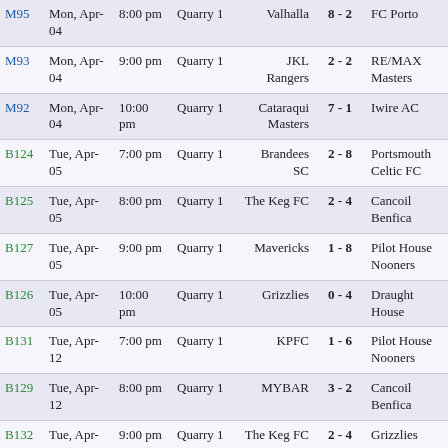| ID | Date | Time | Location | Home | Score | Away |
| --- | --- | --- | --- | --- | --- | --- |
| M95 | Mon, Apr-04 | 8:00 pm | Quarry 1 | Valhalla | 8 - 2 | FC Porto |
| M93 | Mon, Apr-04 | 9:00 pm | Quarry 1 | JKL Rangers | 2 - 2 | RE/MAX Masters |
| M92 | Mon, Apr-04 | 10:00 pm | Quarry 1 | Cataraqui Masters | 7 - 1 | Iwire AC |
| B124 | Tue, Apr-05 | 7:00 pm | Quarry 1 | Brandees SC | 2 - 8 | Portsmouth Celtic FC |
| B125 | Tue, Apr-05 | 8:00 pm | Quarry 1 | The Keg FC | 2 - 4 | Cancoil Benfica |
| B127 | Tue, Apr-05 | 9:00 pm | Quarry 1 | Mavericks | 1 - 8 | Pilot House Nooners |
| B126 | Tue, Apr-05 | 10:00 pm | Quarry 1 | Grizzlies | 0 - 4 | Draught House |
| B131 | Tue, Apr-12 | 7:00 pm | Quarry 1 | KPFC | 1 - 6 | Pilot House Nooners |
| B129 | Tue, Apr-12 | 8:00 pm | Quarry 1 | MYBAR | 3 - 2 | Cancoil Benfica |
| B132 | Tue, Apr-12 | 9:00 pm | Quarry 1 | The Keg FC | 2 - 4 | Grizzlies |